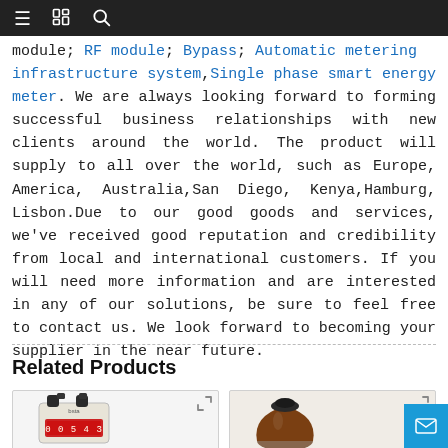≡  [book icon]  🔍
module, RF module, Bypass, Automatic metering infrastructure system, Single phase smart energy meter. We are always looking forward to forming successful business relationships with new clients around the world. The product will supply to all over the world, such as Europe, America, Australia, San Diego, Kenya, Hamburg, Lisbon. Due to our good goods and services, we've received good reputation and credibility from local and international customers. If you will need more information and are interested in any of our solutions, be sure to feel free to contact us. We look forward to becoming your supplier in the near future.
Related Products
[Figure (photo): Gas meter product photo - a white/beige gas meter with two black inlet/outlet pipes and a digital display showing numbers]
[Figure (photo): Brown ceramic or glass vessel/jug product photo with a dark stopper or cap on top]